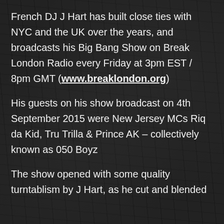French DJ J Hart has built close ties with NYC and the UK over the years, and broadcasts his Big Bang Show on Break London Radio every Friday at 3pm EST / 8pm GMT (www.breaklondon.org)
His guests on his show broadcast on 4th September 2015 were New Jersey MCs Riq da Kid, Tru Trilla & Prince AK – collectively known as 050 Boyz
The show opened with some quality turntablism by J Hart, as he cut and blended